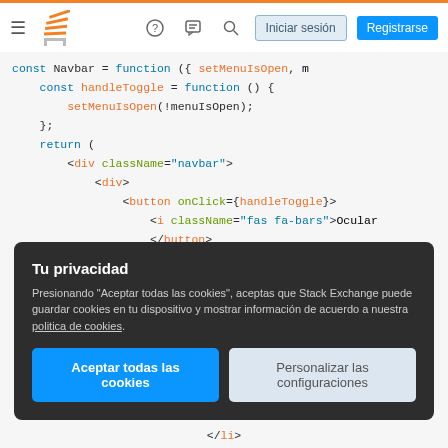[Figure (screenshot): Stack Overflow website navigation bar with hamburger menu, logo, help icon, chat icon, search icon, Iniciar sesion and Registrarse buttons]
const Navbar = function ({ setMenuIsOpen, m
    const handleToggle = function () {
        setMenuIsOpen(!menuIsOpen);
    };
    return (
        <div className="navbar">
            <div>
                <button onClick={handleToggle}>
                    <i className="fas fa-bars">Ocular
                    </button>
            </div>
            <nav>
                <ul>
Tu privacidad
Presionando "Aceptar todas las cookies", aceptas que Stack Exchange puede guardar cookies en tu dispositivo y mostrar información de acuerdo a nuestra politica de cookies.
Aceptar todas las cookies
Personalizar las configuraciones
</li>